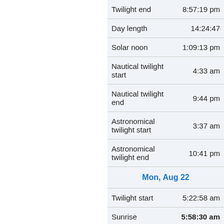| Event | Time |
| --- | --- |
| Twilight end | 8:57:19 pm |
| Day length | 14:24:47 |
| Solar noon | 1:09:13 pm |
| Nautical twilight start | 4:33 am |
| Nautical twilight end | 9:44 pm |
| Astronomical twilight start | 3:37 am |
| Astronomical twilight end | 10:41 pm |
| Mon, Aug 22 |  |
| Twilight start | 5:22:58 am |
| Sunrise | 5:58:30 am |